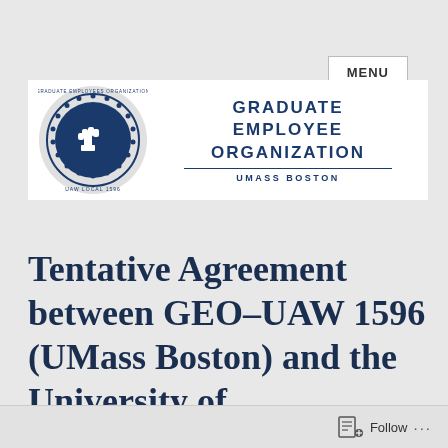MENU
[Figure (logo): Graduate Employee Organization UMass Boston logo — circular blue emblem with a raised fist, text reading GRADUATE EMPLOYEE ORGANIZATION above a horizontal line and UMASS BOSTON below]
Tentative Agreement between GEO–UAW 1596 (UMass Boston) and the University of
Follow ...